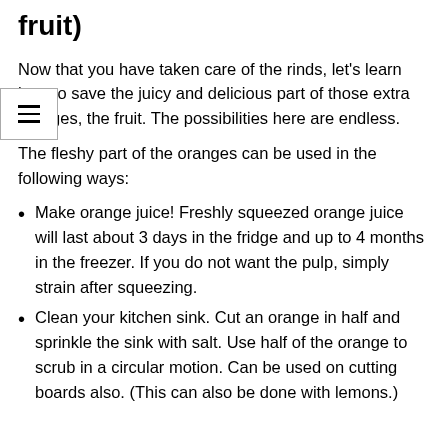fruit)
Now that you have taken care of the rinds, let's learn how to save the juicy and delicious part of those extra oranges, the fruit. The possibilities here are endless.
The fleshy part of the oranges can be used in the following ways:
Make orange juice! Freshly squeezed orange juice will last about 3 days in the fridge and up to 4 months in the freezer. If you do not want the pulp, simply strain after squeezing.
Clean your kitchen sink. Cut an orange in half and sprinkle the sink with salt. Use half of the orange to scrub in a circular motion. Can be used on cutting boards also. (This can also be done with lemons.)